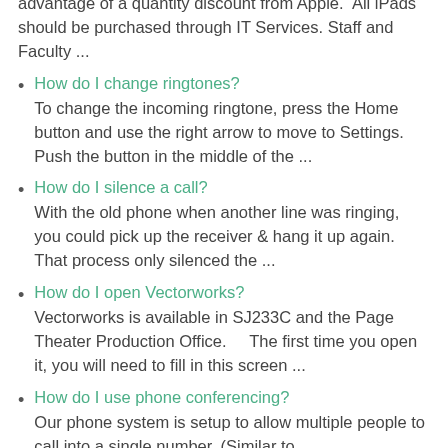advantage of a quantity discount from Apple. All iPads should be purchased through IT Services. Staff and Faculty ...
How do I change ringtones?
To change the incoming ringtone, press the Home button and use the right arrow to move to Settings. Push the button in the middle of the ...
How do I silence a call?
With the old phone when another line was ringing, you could pick up the receiver & hang it up again. That process only silenced the ...
How do I open Vectorworks?
Vectorworks is available in SJ233C and the Page Theater Production Office.    The first time you open it, you will need to fill in this screen ...
How do I use phone conferencing?
Our phone system is setup to allow multiple people to call into a single number. (Similar to GoToMeeting) A person can dial if ...